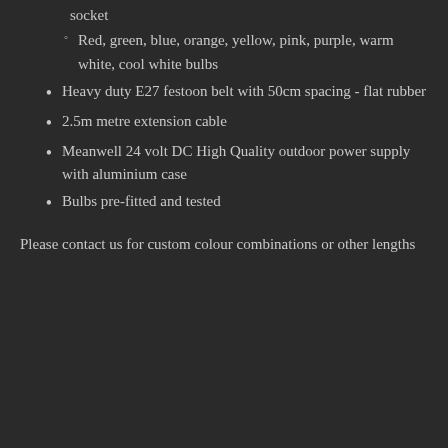socket
Red, green, blue, orange, yellow, pink, purple, warm white, cool white bulbs
Heavy duty E27 festoon belt with 50cm spacing - flat rubber
2.5m metre extension cable
Meanwell 24 volt DC High Quality outdoor power supply with aluminium case
Bulbs pre-fitted and tested
Please contact us for custom colour combinations or other lengths